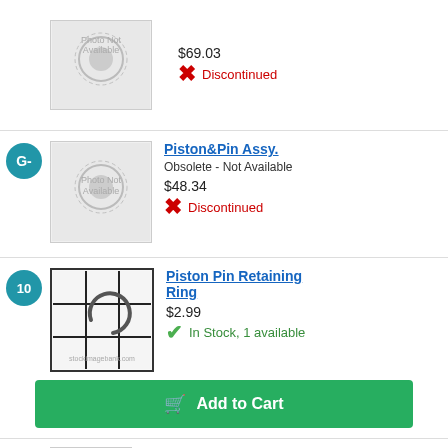$69.03
Discontinued
G-
[Figure (photo): Photo Not Available placeholder image]
Piston&Pin Assy.
Obsolete - Not Available
$48.34
Discontinued
10
[Figure (photo): Piston Pin Retaining Ring product photo with grid background]
Piston Pin Retaining Ring
$2.99
In Stock, 1 available
Add to Cart
11
Piston And Pin Asm